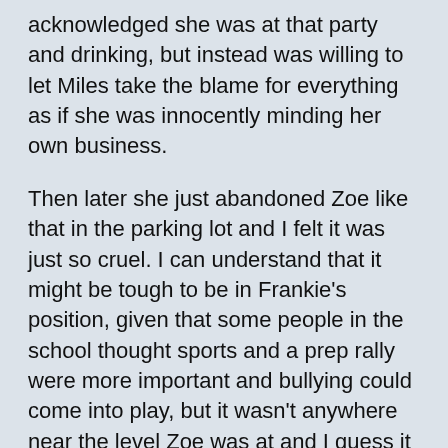acknowledged she was at that party and drinking, but instead was willing to let Miles take the blame for everything as if she was innocently minding her own business.
Then later she just abandoned Zoe like that in the parking lot and I felt it was just so cruel. I can understand that it might be tough to be in Frankie's position, given that some people in the school thought sports and a prep rally were more important and bullying could come into play, but it wasn't anywhere near the level Zoe was at and I guess it was hard for her to see it from Zoe's point of view. It also goes to show that some people have no issues recording and taking pictures of something, like Frankie did, instead of getting involved whether it's helping the person